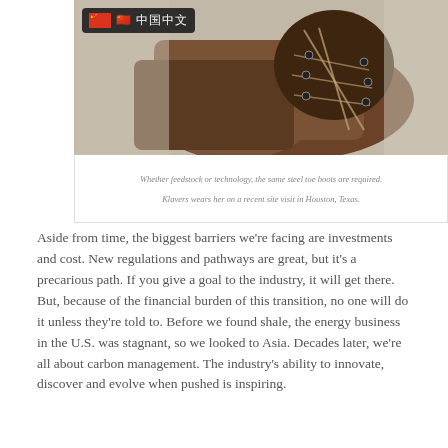[Figure (photo): Close-up photo of brown leather steel-toe work boots with laces, shot on a concrete surface. A small overlay badge in the top-left corner shows a Chinese flag emoji and Chinese characters on a dark background.]
Whether feedstock or technology, the same steel toe boots are required.

Klavers wears her on a recent site visit in Houston, Texas.
Aside from time, the biggest barriers we're facing are investments and cost. New regulations and pathways are great, but it's a precarious path. If you give a goal to the industry, it will get there. But, because of the financial burden of this transition, no one will do it unless they're told to. Before we found shale, the energy business in the U.S. was stagnant, so we looked to Asia. Decades later, we're all about carbon management. The industry's ability to innovate, discover and evolve when pushed is inspiring.